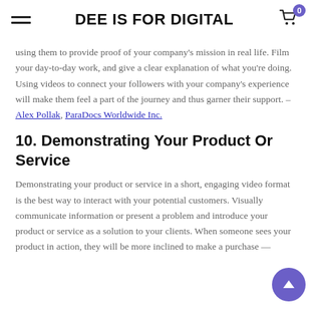DEE IS FOR DIGITAL
using them to provide proof of your company's mission in real life. Film your day-to-day work, and give a clear explanation of what you're doing. Using videos to connect your followers with your company's experience will make them feel a part of the journey and thus garner their support. – Alex Pollak, ParaDocs Worldwide Inc.
10. Demonstrating Your Product Or Service
Demonstrating your product or service in a short, engaging video format is the best way to interact with your potential customers. Visually communicate information or present a problem and introduce your product or service as a solution to your clients. When someone sees your product in action, they will be more inclined to make a purchase —